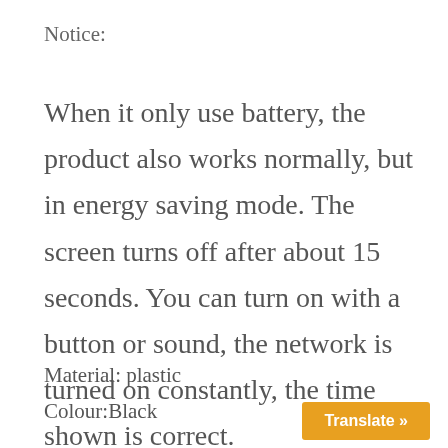Notice:
When it only use battery, the product also works normally, but in energy saving mode. The screen turns off after about 15 seconds. You can turn on with a button or sound, the network is turned on constantly, the time shown is correct.
Material: plastic
Colour:Black